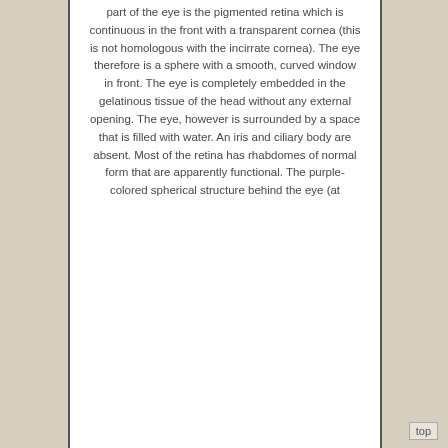part of the eye is the pigmented retina which is continuous in the front with a transparent cornea (this is not homologous with the incirrate cornea). The eye therefore is a sphere with a smooth, curved window in front. The eye is completely embedded in the gelatinous tissue of the head without any external opening. The eye, however is surrounded by a space that is filled with water. An iris and ciliary body are absent. Most of the retina has rhabdomes of normal form that are apparently functional. The purple-colored spherical structure behind the eye (at
top